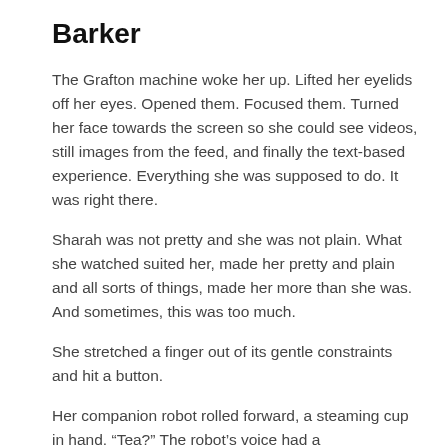Barker
The Grafton machine woke her up. Lifted her eyelids off her eyes. Opened them. Focused them. Turned her face towards the screen so she could see videos, still images from the feed, and finally the text-based experience. Everything she was supposed to do. It was right there.
Sharah was not pretty and she was not plain. What she watched suited her, made her pretty and plain and all sorts of things, made her more than she was. And sometimes, this was too much.
She stretched a finger out of its gentle constraints and hit a button.
Her companion robot rolled forward, a steaming cup in hand. “Tea?” The robot’s voice had a